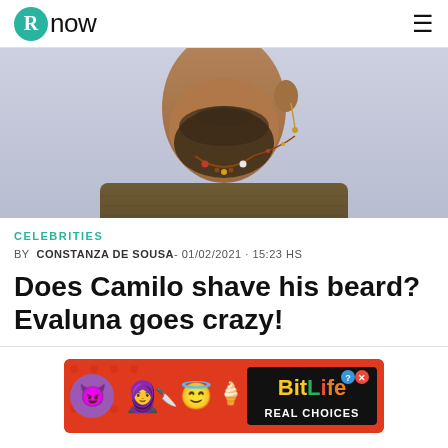Rnow
[Figure (photo): Close-up photo of a man with a beard and necklace wearing a dark olive/brown knit sweater, against a light lavender background. Only the neck and lower face are visible.]
CELEBRITIES
BY  CONSTANZA DE SOUSA- 01/02/2021 · 15:23 HS
Does Camilo shave his beard? Evaluna goes crazy!
[Figure (infographic): BitLife advertisement banner. Red background with cartoon emoji characters (devil emoji, woman with knife, angel emoji, sperm emoji) and text reading 'BitLife REAL CHOICES' with question mark and X icons.]